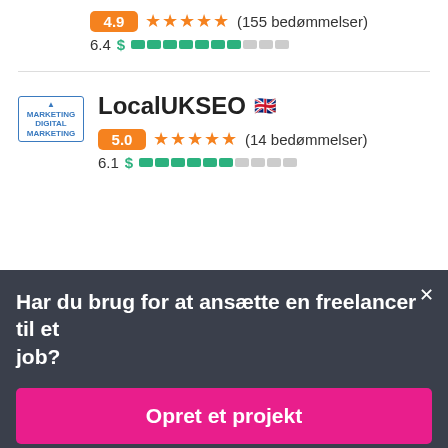4.9 ★★★★★ (155 bedømmelser)
6.4 $ ████████░░░
LocalUKSEO 🇬🇧
5.0 ★★★★★ (14 bedømmelser)
6.1 $ ██████░░░░
Har du brug for at ansætte en freelancer til et job?
Opret et projekt